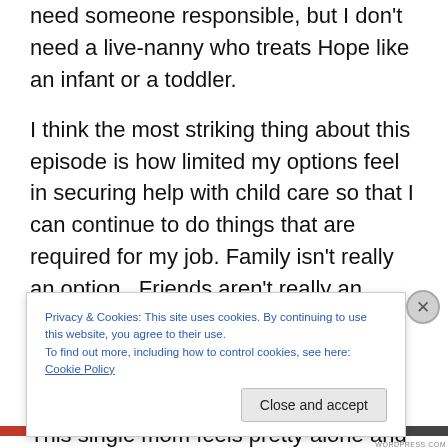need someone responsible, but I don't need a live-nanny who treats Hope like an infant or a toddler.
I think the most striking thing about this episode is how limited my options feel in securing help with child care so that I can continue to do things that are required for my job. Family isn't really an option.  Friends aren't really an option. The sitter service is a great option, but a bit of a personality crap shoot.
This single mom feels pretty alone and kind of unsupported.  Not that the people around me are mean or
Privacy & Cookies: This site uses cookies. By continuing to use this website, you agree to their use.
To find out more, including how to control cookies, see here: Cookie Policy
Close and accept